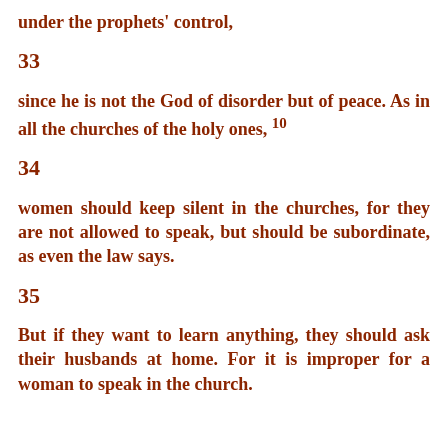under the prophets' control,
33
since he is not the God of disorder but of peace. As in all the churches of the holy ones, 10
34
women should keep silent in the churches, for they are not allowed to speak, but should be subordinate, as even the law says.
35
But if they want to learn anything, they should ask their husbands at home. For it is improper for a woman to speak in the church.